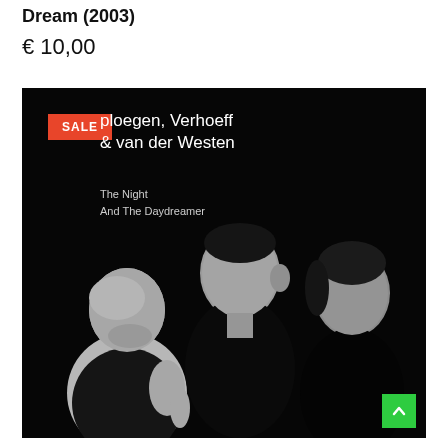Dream (2003)
€ 10,00
[Figure (photo): Album cover for 'The Night And The Daydreamer' by Ploegen, Verhoeff & van der Westen (2003). Black and white photo of three men against a black background. A red SALE badge is visible in the top-left corner of the image. White text shows artist name and album title on the left side of the cover.]